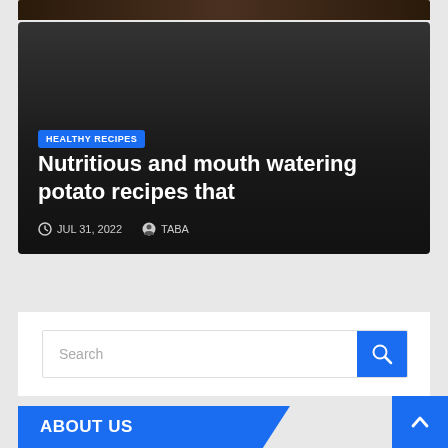[Figure (photo): Dark cropped food photo at top of page, appears to show baked potatoes or similar dark food]
[Figure (photo): Article card with dark gradient background overlay showing category badge, title, and metadata. Category: HEALTHY RECIPES. Title: Nutritious and mouth watering potato recipes that. Date: JUL 31, 2022. Author: TABA]
HEALTHY RECIPES
Nutritious and mouth watering potato recipes that
JUL 31, 2022   TABA
Search
ABOUT US